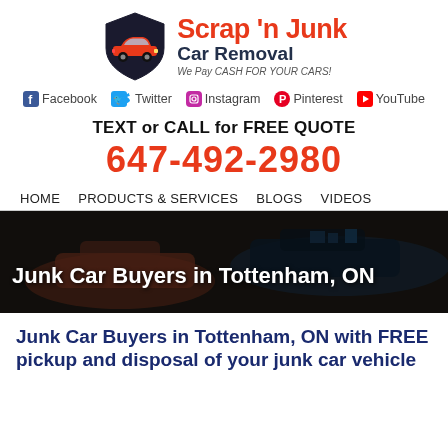[Figure (logo): Scrap 'n Junk Car Removal logo with red car on shield, company name and tagline 'We Pay CASH FOR YOUR CARS!']
Facebook  Twitter  Instagram  Pinterest  YouTube
TEXT or CALL for FREE QUOTE
647-492-2980
HOME   PRODUCTS & SERVICES   BLOGS   VIDEOS
[Figure (photo): Hero banner showing junk/scrap cars in a dark automotive setting with overlaid white text 'Junk Car Buyers in Tottenham, ON']
Junk Car Buyers in Tottenham, ON with FREE pickup and disposal of your junk car vehicle